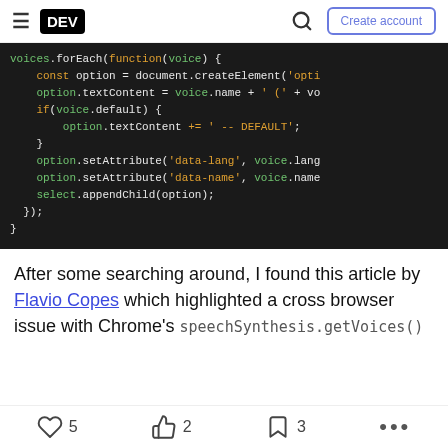DEV | Create account
[Figure (screenshot): Dark-themed code block showing JavaScript code with voices.forEach function, const option declaration, option.textContent assignments, if(voice.default) block, option.setAttribute calls, and select.appendChild call.]
After some searching around, I found this article by Flavio Copes which highlighted a cross browser issue with Chrome's speechSynthesis.getVoices()
5 likes  2 reactions  3 saves  ...